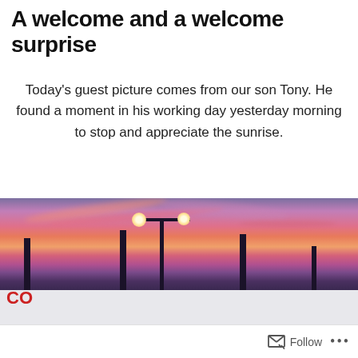A welcome and a welcome surprise
Today's guest picture comes from our son Tony. He found a moment in his working day yesterday morning to stop and appreciate the sunrise.
[Figure (photo): Outdoor photo of a vivid pink and purple sunrise sky over a retail shopping center (partially visible 'CO' signage, likely Costco). Bare winter trees silhouetted against the colorful sky, with parking lot light poles glowing in the foreground.]
Follow ...